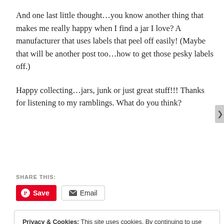And one last little thought…you know another thing that makes me really happy when I find a jar I love? A manufacturer that uses labels that peel off easily! (Maybe that will be another post too…how to get those pesky labels off.)
Happy collecting…jars, junk or just great stuff!!! Thanks for listening to my ramblings. What do you think?
SHARE THIS:
Save  Email
Privacy & Cookies: This site uses cookies. By continuing to use this website, you agree to their use. To find out more, including how to control cookies, see here: Cookie Policy
Close and accept